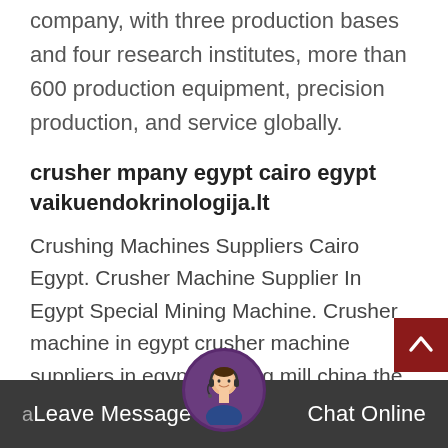company, with three production bases and four research institutes, more than 600 production equipment, precision production, and service globally.
crusher mpany egypt cairo egypt vaikuendokrinologija.lt
Crushing Machines Suppliers Cairo Egypt. Crusher Machine Supplier In Egypt Special Mining Machine. Crusher machine in egypt crusher machine suppliers in egypt grinding mill china the gulin product line consisting of more than 30 machines impact crusher in cairo al qahirah egypt more details fabo company mobile crusher plants m crusher we have provi crusher machine a
Leave Message   Chat Online